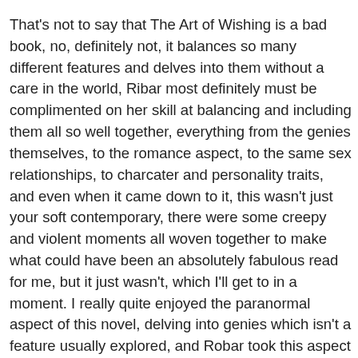That's not to say that The Art of Wishing is a bad book, no, definitely not, it balances so many different features and delves into them without a care in the world, Ribar most definitely must be complimented on her skill at balancing and including them all so well together, everything from the genies themselves, to the romance aspect, to the same sex relationships, to charcater and personality traits, and even when it came down to it, this wasn't just your soft contemporary, there were some creepy and violent moments all woven together to make what could have been an absolutely fabulous read for me, but it just wasn't, which I'll get to in a moment. I really quite enjoyed the paranormal aspect of this novel, delving into genies which isn't a feature usually explored, and Robar took this aspect and truly made it her own, turning what we think we know about genies and their blue-ness into something much more human, much more linked to that of slavery and taking away free will and it was this exploration that kept me reading the novel on the whole - the background, the history, the answers surrounding how and why they are how they are and do what they do, it